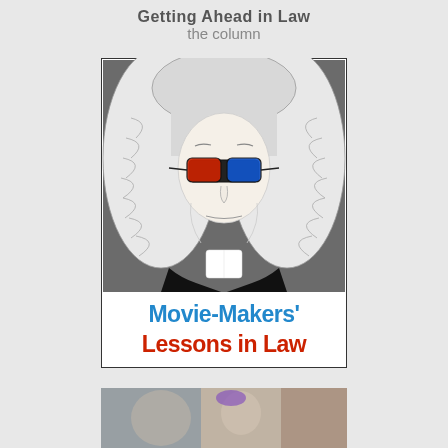Getting Ahead in Law
the column
[Figure (illustration): Illustration of a judge wearing a traditional white barrister's wig and black robes, with red and blue 3D glasses. Below the illustration, text reads 'Movie-Makers' Lessons in Law' in blue and red bold text on a white background.]
[Figure (photo): Partial photograph visible at bottom of page, showing what appears to be people in a scene, cropped.]